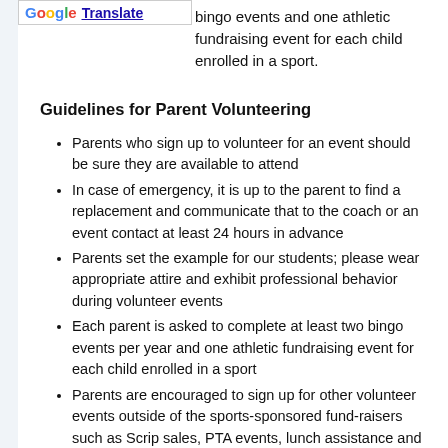bingo events and one athletic fundraising event for each child enrolled in a sport.
Guidelines for Parent Volunteering
Parents who sign up to volunteer for an event should be sure they are available to attend
In case of emergency, it is up to the parent to find a replacement and communicate that to the coach or an event contact at least 24 hours in advance
Parents set the example for our students; please wear appropriate attire and exhibit professional behavior during volunteer events
Each parent is asked to complete at least two bingo events per year and one athletic fundraising event for each child enrolled in a sport
Parents are encouraged to sign up for other volunteer events outside of the sports-sponsored fund-raisers such as Scrip sales, PTA events, lunch assistance and bingo; contact the advancement